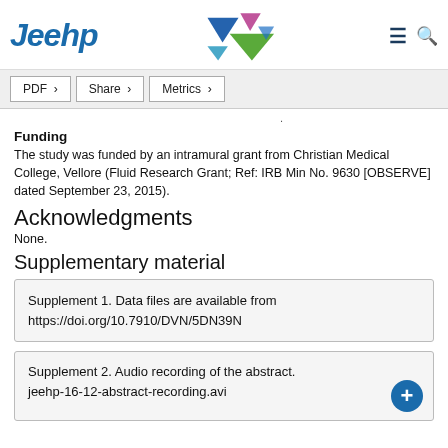Jeehp [logo with colorful triangles, hamburger menu, search icon]
PDF  Share  Metrics
[truncated top line]
Funding
The study was funded by an intramural grant from Christian Medical College, Vellore (Fluid Research Grant; Ref: IRB Min No. 9630 [OBSERVE] dated September 23, 2015).
Acknowledgments
None.
Supplementary material
Supplement 1. Data files are available from https://doi.org/10.7910/DVN/5DN39N
Supplement 2. Audio recording of the abstract.
jeehp-16-12-abstract-recording.avi